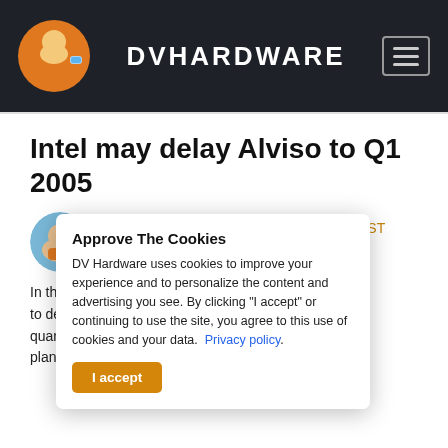DVHARDWARE
Intel may delay Alviso to Q1 2005
Posted on Friday, Jul 16 2004 @ 16:40 CEST
by Thomas De Maesschalck
In the next fe... to delay the ... quarter of ne... planned.
Intel's... will su...
Approve The Cookies
DV Hardware uses cookies to improve your experience and to personalize the content and advertising you see. By clicking "I accept" or continuing to use the site, you agree to this use of cookies and your data. Privacy policy.
I accept